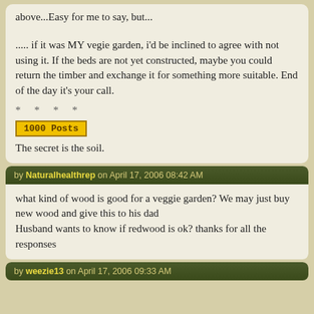above...Easy for me to say, but...
..... if it was MY vegie garden, i'd be inclined to agree with not using it. If the beds are not yet constructed, maybe you could return the timber and exchange it for something more suitable. End of the day it's your call.
* * * *
[Figure (other): Badge reading '1000 Posts']
The secret is the soil.
by Naturalhealthrep on April 17, 2006 08:42 AM
what kind of wood is good for a veggie garden? We may just buy new wood and give this to his dad
Husband wants to know if redwood is ok? thanks for all the responses
by weezie13 on April 17, 2006 09:33 AM